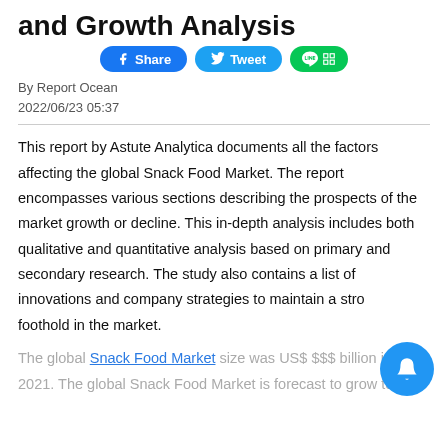and Growth Analysis
[Figure (other): Social share buttons: Facebook Share, Twitter Tweet, LINE icon]
By Report Ocean
2022/06/23 05:37
This report by Astute Analytica documents all the factors affecting the global Snack Food Market. The report encompasses various sections describing the prospects of the market growth or decline. This in-depth analysis includes both qualitative and quantitative analysis based on primary and secondary research. The study also contains a list of innovations and company strategies to maintain a strong foothold in the market.
The global Snack Food Market size was US$ $$$ billion in 2021. The global Snack Food Market is forecast to grow to